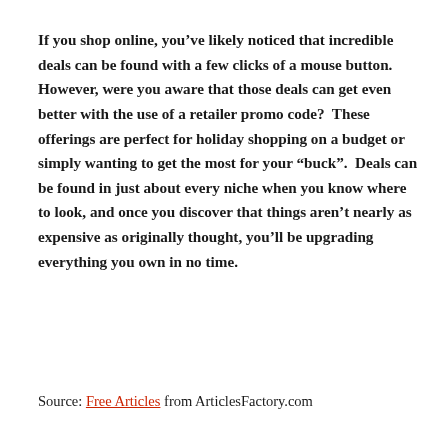If you shop online, you’ve likely noticed that incredible deals can be found with a few clicks of a mouse button.  However, were you aware that those deals can get even better with the use of a retailer promo code?  These offerings are perfect for holiday shopping on a budget or simply wanting to get the most for your “buck”.  Deals can be found in just about every niche when you know where to look, and once you discover that things aren’t nearly as expensive as originally thought, you’ll be upgrading everything you own in no time.
Source: Free Articles from ArticlesFactory.com